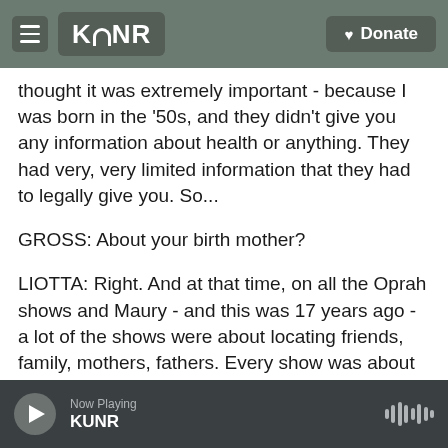KUNR | Donate
thought it was extremely important - because I was born in the '50s, and they didn't give you any information about health or anything. They had very, very limited information that they had to legally give you. So...
GROSS: About your birth mother?
LIOTTA: Right. And at that time, on all the Oprah shows and Maury - and this was 17 years ago - a lot of the shows were about locating friends, family, mothers, fathers. Every show was about that.
GROSS: Because records were starting to be
Now Playing KUNR